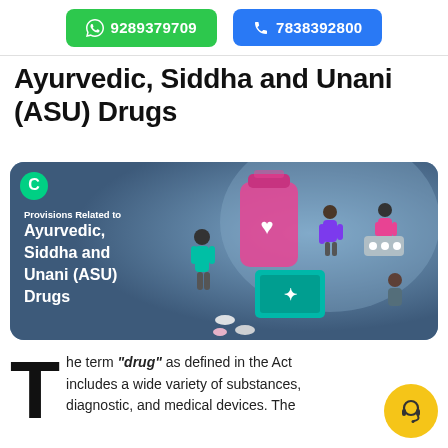9289379709  7838392800
Ayurvedic, Siddha and Unani (ASU) Drugs
[Figure (illustration): Banner image with dark blue background showing an illustration of people around a large pink medicine bottle and teal medicine box with pills scattered. Text overlay reads: 'Provisions Related to Ayurvedic, Siddha and Unani (ASU) Drugs'. A small ClearTax logo is in the top-left corner.]
The term “drug” as defined in the Act includes a wide variety of substances, diagnostic, and medical devices. The